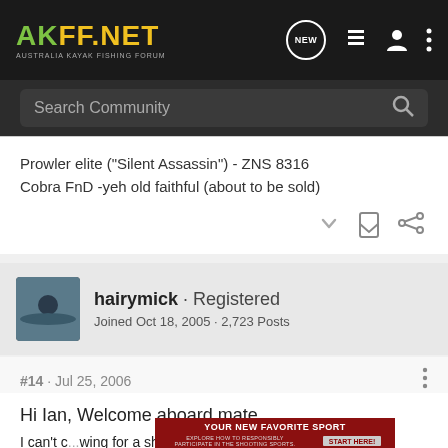AKFF.NET - AUSTRALIA KAYAK FISHING FORUM
Search Community
Prowler elite ("Silent Assassin") - ZNS 8316
Cobra FnD -yeh old faithful (about to be sold)
hairymick · Registered
Joined Oct 18, 2005 · 2,723 Posts
#14 · Jul 25, 2006
Hi Ian, Welcome aboard mate.
I can't c...wing for a short w... strong